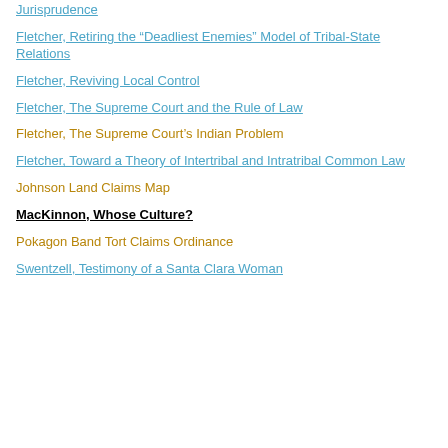Jurisprudence
Fletcher, Retiring the “Deadliest Enemies” Model of Tribal-State Relations
Fletcher, Reviving Local Control
Fletcher, The Supreme Court and the Rule of Law
Fletcher, The Supreme Court’s Indian Problem
Fletcher, Toward a Theory of Intertribal and Intratribal Common Law
Johnson Land Claims Map
MacKinnon, Whose Culture?
Pokagon Band Tort Claims Ordinance
Swentzell, Testimony of a Santa Clara Woman